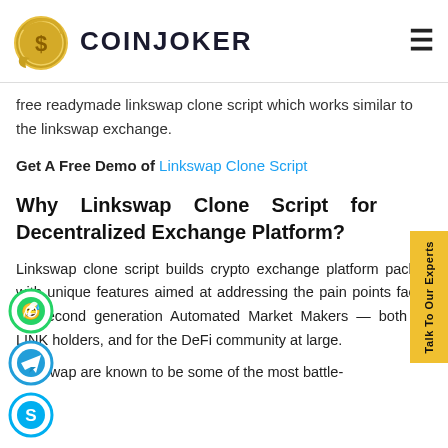[Figure (logo): CoinJoker logo with gold coin icon and bold text COINJOKER]
free readymade linkswap clone script which works similar to the linkswap exchange.
Get A Free Demo of Linkswap Clone Script
Why Linkswap Clone Script for Decentralized Exchange Platform?
Linkswap clone script builds crypto exchange platform packed with unique features aimed at addressing the pain points faced by second generation Automated Market Makers — both for LINK holders, and for the DeFi community at large.
Linkswap are known to be some of the most battle-